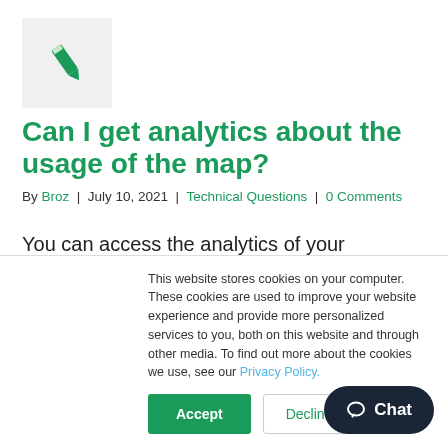[Figure (illustration): Green pen/pencil icon on light grey background box]
Can I get analytics about the usage of the map?
By Broz | July 10, 2021 | Technical Questions | 0 Comments
You can access the analytics of your interactive map with [...]
Read More
This website stores cookies on your computer. These cookies are used to improve your website experience and provide more personalized services to you, both on this website and through other media. To find out more about the cookies we use, see our Privacy Policy.